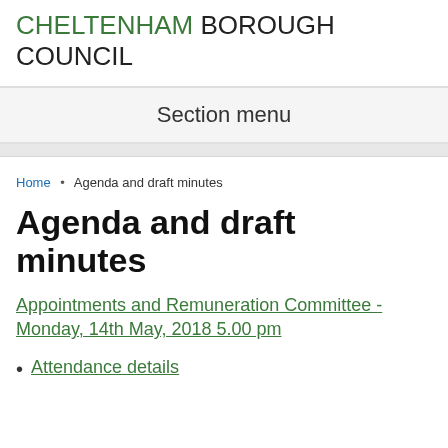CHELTENHAM BOROUGH COUNCIL
Section menu
Home • Agenda and draft minutes
Agenda and draft minutes
Appointments and Remuneration Committee - Monday, 14th May, 2018 5.00 pm
Attendance details